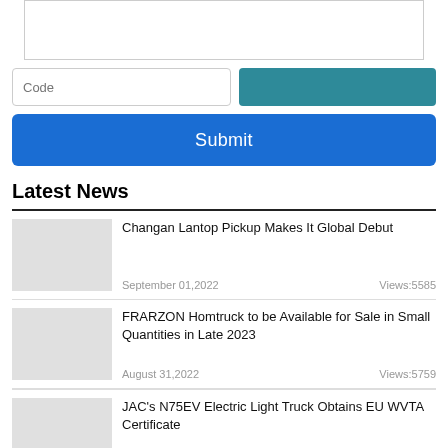[Figure (screenshot): Textarea input box at the top of the page, partially visible]
[Figure (screenshot): Row with a Code placeholder text input on the left and a teal colored button on the right]
[Figure (screenshot): Blue Submit button spanning the full width]
Latest News
Changan Lantop Pickup Makes It Global Debut
September 01,2022 Views:5585
FRARZON Homtruck to be Available for Sale in Small Quantities in Late 2023
August 31,2022 Views:5759
JAC's N75EV Electric Light Truck Obtains EU WVTA Certificate